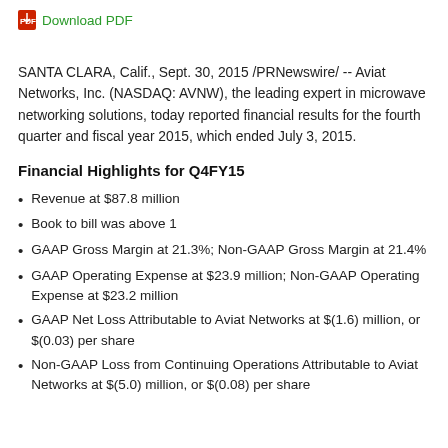Download PDF
SANTA CLARA, Calif., Sept. 30, 2015 /PRNewswire/ -- Aviat Networks, Inc. (NASDAQ: AVNW), the leading expert in microwave networking solutions, today reported financial results for the fourth quarter and fiscal year 2015, which ended July 3, 2015.
Financial Highlights for Q4FY15
Revenue at $87.8 million
Book to bill was above 1
GAAP Gross Margin at 21.3%; Non-GAAP Gross Margin at 21.4%
GAAP Operating Expense at $23.9 million; Non-GAAP Operating Expense at $23.2 million
GAAP Net Loss Attributable to Aviat Networks at $(1.6) million, or $(0.03) per share
Non-GAAP Loss from Continuing Operations Attributable to Aviat Networks at $(5.0) million, or $(0.08) per share